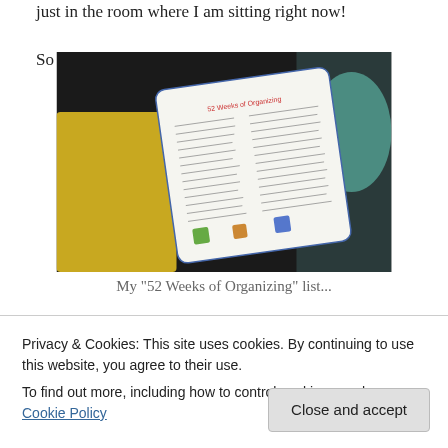just in the room where I am sitting right now!
So I made my list and got started!
[Figure (photo): A photograph showing a printed '52 Weeks of Organizing' checklist sheet placed on a yellow surface with dark fabric in the background.]
My "52 Weeks of Organizing" list...
Privacy & Cookies: This site uses cookies. By continuing to use this website, you agree to their use.
To find out more, including how to control cookies, see here: Cookie Policy